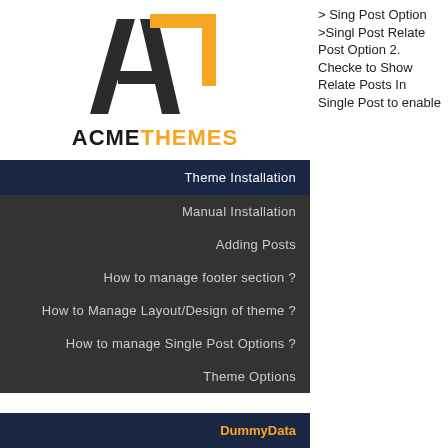[Figure (logo): AcmeThemes logo: stylized A and T letterforms in dark gray and orange, with ACMETHEMES text below in bold black and orange]
Theme Installation
Manual Installation
Adding Posts
How to manage footer section ?
How to Manage Layout/Design of theme ?
How to manage Single Post Options ?
Theme Options
DummyData
> Single Post Options >Single Post Related Post Options 2. Checked to Show Related Posts In Single Post to enable